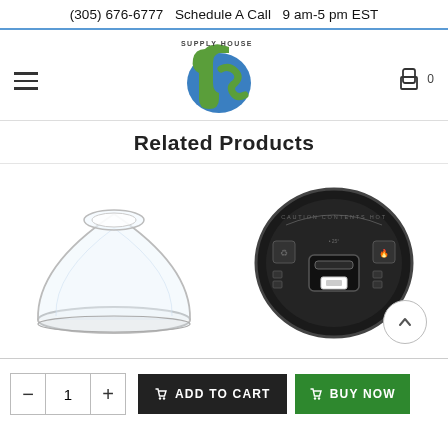(305) 676-6777  Schedule A Call  9 am-5 pm EST
[Figure (logo): US Supply House logo - green and blue letters US with 'Supply House' text above]
Related Products
[Figure (photo): Clear plastic dome lid for cold drink cups, viewed from slight angle, transparent with circular opening on top]
[Figure (photo): Black plastic hot drink lid with flip-tab closure, viewed from top, round shape with caution hot contents text]
1
ADD TO CART
BUY NOW